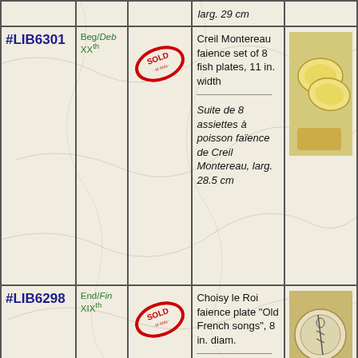| ID | Period | Status | Description | Photo |
| --- | --- | --- | --- | --- |
| #LIB6301 | Beg/Deb XXth | SOLD | Creil Montereau faience set of 8 fish plates, 11 in. width | Suite de 8 assiettes à poisson faïence de Creil Montereau, larg. 28.5 cm | [photo] |
| #LIB6298 | End/Fin XIXth | SOLD | Choisy le Roi faience plate "Old French songs", 8 in. diam. | Assiette ... | [photo] |